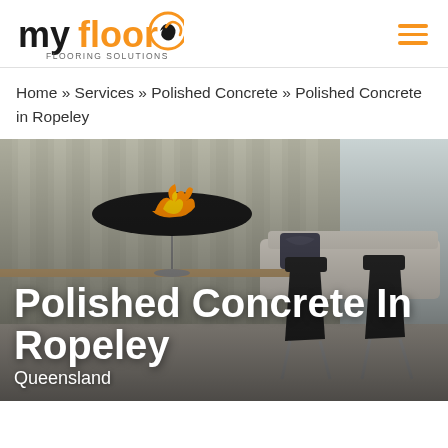myfloor FLOORING SOLUTIONS
Home » Services » Polished Concrete » Polished Concrete in Ropeley
[Figure (photo): Interior room photo showing polished concrete floor with modern dining chairs, a table, sofa with decorative pillow, and a suspended fireplace with flame, set against a striped wall with large windows]
Polished Concrete In Ropeley
Queensland